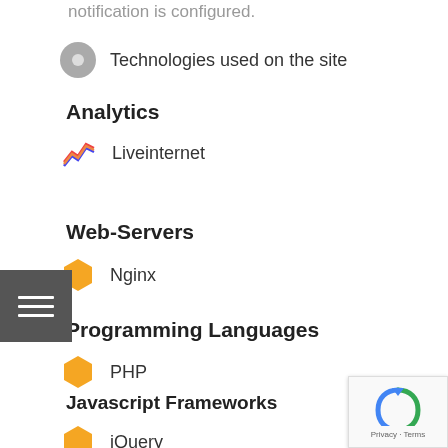notification is configured.
Technologies used on the site
Analytics
Liveinternet
Web-Servers
Nginx
Programming Languages
PHP
Javascript Frameworks
jQuery